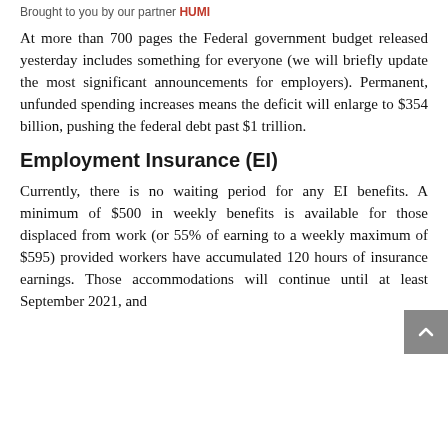Brought to you by our partner HUMI
At more than 700 pages the Federal government budget released yesterday includes something for everyone (we will briefly update the most significant announcements for employers). Permanent, unfunded spending increases means the deficit will enlarge to $354 billion, pushing the federal debt past $1 trillion.
Employment Insurance (EI)
Currently, there is no waiting period for any EI benefits. A minimum of $500 in weekly benefits is available for those displaced from work (or 55% of earning to a weekly maximum of $595) provided workers have accumulated 120 hours of insurance earnings. Those accommodations will continue until at least September 2021, and